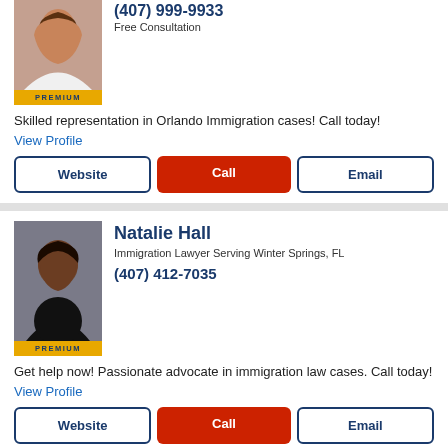(407) 999-9933
Free Consultation
[Figure (photo): Professional headshot of female lawyer with brown hair, wearing white top, with gold PREMIUM badge below]
Skilled representation in Orlando Immigration cases! Call today!
View Profile
Website
Call
Email
[Figure (photo): Professional headshot of Natalie Hall, a Black female lawyer smiling, with gold PREMIUM badge below]
Natalie Hall
Immigration Lawyer Serving Winter Springs, FL
(407) 412-7035
Get help now! Passionate advocate in immigration law cases. Call today!
View Profile
Website
Call
Email